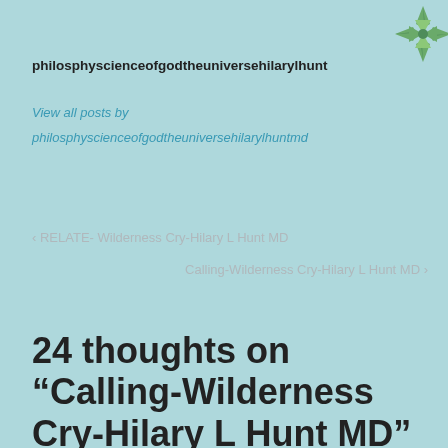[Figure (logo): Green geometric star/flower logo in top right corner]
philosphyscienceofgodtheuniversehilarylhunt
View all posts by philosphyscienceofgodtheuniversehilarylhuntmd
< RELATE- Wilderness Cry-Hilary L Hunt MD
Calling-Wilderness Cry-Hilary L Hunt MD >
24 thoughts on “Calling-Wilderness Cry-Hilary L Hunt MD”